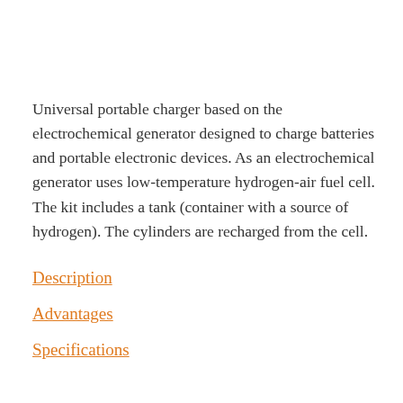Universal portable charger based on the electrochemical generator designed to charge batteries and portable electronic devices. As an electrochemical generator uses low-temperature hydrogen-air fuel cell. The kit includes a tank (container with a source of hydrogen). The cylinders are recharged from the cell.
Description
Advantages
Specifications